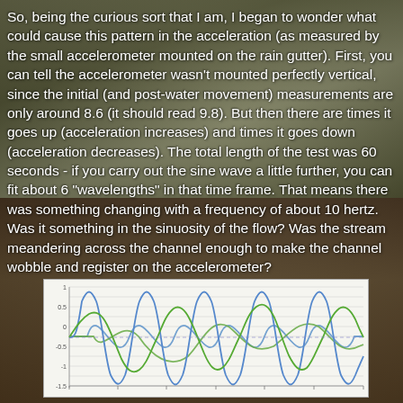So, being the curious sort that I am, I began to wonder what could cause this pattern in the acceleration (as measured by the small accelerometer mounted on the rain gutter). First, you can tell the accelerometer wasn't mounted perfectly vertical, since the initial (and post-water movement) measurements are only around 8.6 (it should read 9.8). But then there are times it goes up (acceleration increases) and times it goes down (acceleration decreases). The total length of the test was 60 seconds - if you carry out the sine wave a little further, you can fit about 6 "wavelengths" in that time frame. That means there was something changing with a frequency of about 10 hertz. Was it something in the sinuosity of the flow? Was the stream meandering across the channel enough to make the channel wobble and register on the accelerometer?
[Figure (continuous-plot): Line chart showing two overlapping sine-like waveforms — one blue and one green — plotted over time, with a relatively flat reference line. The blue line oscillates with larger amplitude and the green line oscillates with slightly smaller amplitude and a phase offset. Y-axis appears to range roughly from about 8 to 10, with a center near 9. X-axis represents time up to approximately 60 seconds.]